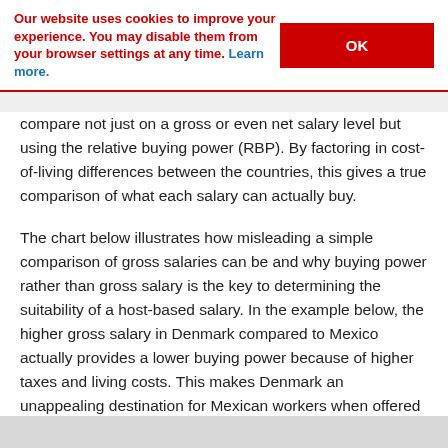Our website uses cookies to improve your experience. You may disable them from your browser settings at any time. Learn more. [OK button]
compare not just on a gross or even net salary level but using the relative buying power (RBP). By factoring in cost-of-living differences between the countries, this gives a true comparison of what each salary can actually buy.
The chart below illustrates how misleading a simple comparison of gross salaries can be and why buying power rather than gross salary is the key to determining the suitability of a host-based salary. In the example below, the higher gross salary in Denmark compared to Mexico actually provides a lower buying power because of higher taxes and living costs. This makes Denmark an unappealing destination for Mexican workers when offered a host-based salary.